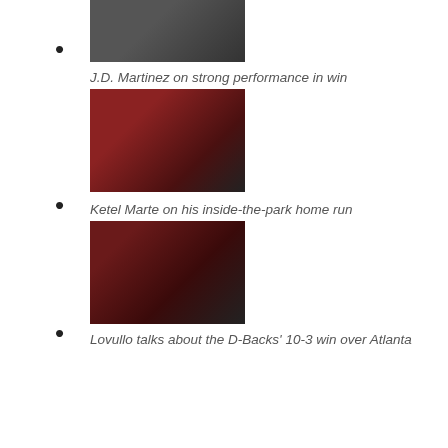[thumbnail image – interview scene]
J.D. Martinez on strong performance in win
Ketel Marte on his inside-the-park home run
Lovullo talks about the D-Backs' 10-3 win over Atlanta
Diamondbacks fall 8-3 to Braves